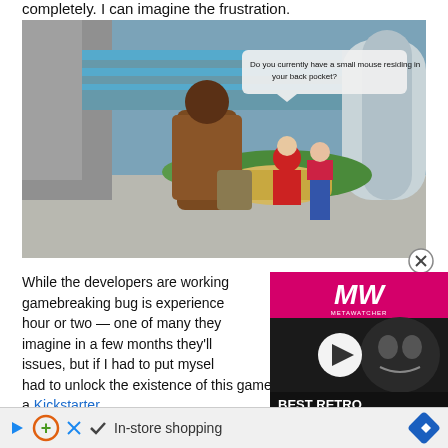completely. I can imagine the frustration.
[Figure (screenshot): Video game screenshot showing a character in a brown coat with a messenger bag viewed from behind, approaching two NPCs near a circular counter. A dialogue bubble reads 'Do you currently have a small mouse residing in your back pocket?' The environment is a futuristic outdoor area with smooth architecture and greenery.]
While the developers are working on a fix, this gamebreaking bug is experienced about once every hour or two — one of many they're dealing with. I imagine in a few months they'll have ironed out the issues, but if I had to put myself in their shoes, had to unlock the existence of this game as a Kickstarter stretch giving I'd be. es
[Figure (screenshot): Video advertisement overlay showing MW (MetaWatcher) logo in pink/magenta on top, a dark background with a creature/character image and a white play button triangle in center, and 'BEST RETRO SWITCH GAMES' text at bottom with 'BEST RETRO' in white and 'SWITCH GAMES' in pink/magenta.]
In-store shopping
Kickstarter stretch